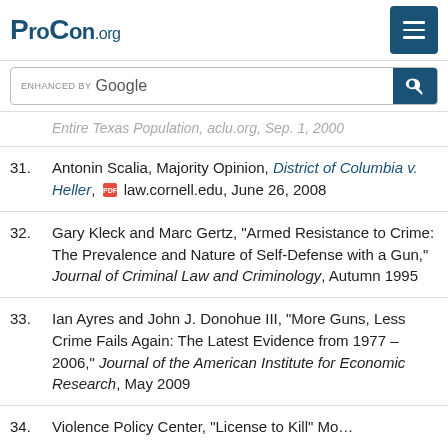ProCon.org
ENHANCED BY Google [search bar]
Entire Texas Population, aclu.org, Sep. 1, 2000 [truncated top]
31. Antonin Scalia, Majority Opinion, District of Columbia v. Heller, [PDF] law.cornell.edu, June 26, 2008
32. Gary Kleck and Marc Gertz, "Armed Resistance to Crime: The Prevalence and Nature of Self-Defense with a Gun," Journal of Criminal Law and Criminology, Autumn 1995
33. Ian Ayres and John J. Donohue III, "More Guns, Less Crime Fails Again: The Latest Evidence from 1977 – 2006," Journal of the American Institute for Economic Research, May 2009
34. Violence Policy Center, "License to Kill" [truncated bottom]